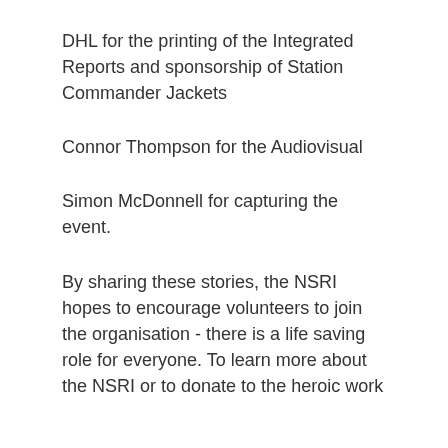DHL for the printing of the Integrated Reports and sponsorship of Station Commander Jackets
Connor Thompson for the Audiovisual
Simon McDonnell for capturing the event.
By sharing these stories, the NSRI hopes to encourage volunteers to join the organisation - there is a life saving role for everyone. To learn more about the NSRI or to donate to the heroic work